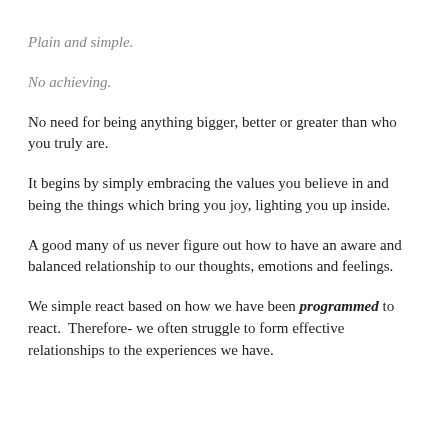Plain and simple.
No achieving.
No need for being anything bigger, better or greater than who you truly are.
It begins by simply embracing the values you believe in and being the things which bring you joy, lighting you up inside.
A good many of us never figure out how to have an aware and balanced relationship to our thoughts, emotions and feelings.
We simple react based on how we have been programmed to react.  Therefore- we often struggle to form effective relationships to the experiences we have.